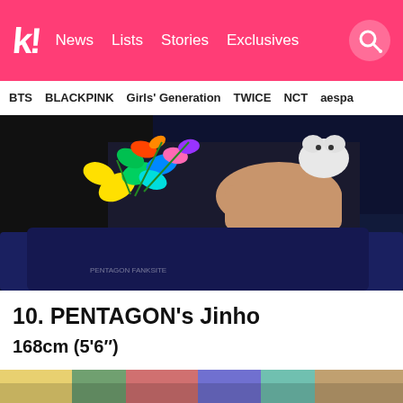k! News Lists Stories Exclusives
BTS  BLACKPINK  Girls' Generation  TWICE  NCT  aespa
[Figure (photo): Close-up photo of a person wearing a dark outfit with colorful flower decorations or accessories, holding a small stuffed animal toy. Dark blue background.]
10. PENTAGON's Jinho
168cm (5'6")
[Figure (photo): Partial view of a colorful image at the bottom of the page, cropped.]